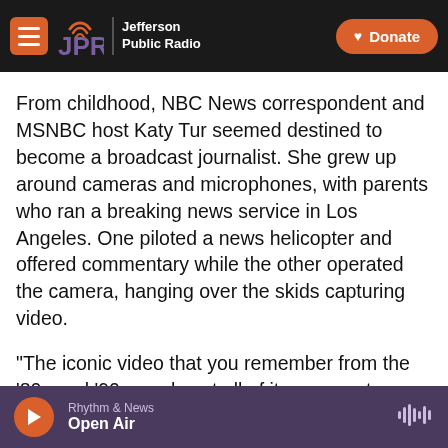JPR | Jefferson Public Radio — Donate
From childhood, NBC News correspondent and MSNBC host Katy Tur seemed destined to become a broadcast journalist. She grew up around cameras and microphones, with parents who ran a breaking news service in Los Angeles. One piloted a news helicopter and offered commentary while the other operated the camera, hanging over the skids capturing video.
"The iconic video that you remember from the '80s and '90s — almost all of it my parents shot," Tur says. "They got O.J. [Simpson] on that slow-speed
Rhythm & News — Open Air